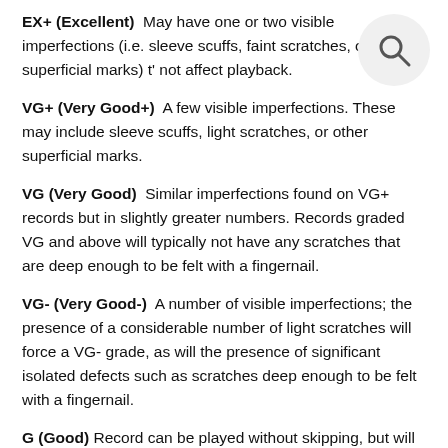EX+ (Excellent)  May have one or two visible imperfections (i.e. sleeve scuffs, faint scratches, or other superficial marks) that not affect playback.
VG+ (Very Good+)  A few visible imperfections. These may include sleeve scuffs, light scratches, or other superficial marks.
VG (Very Good)  Similar imperfections found on VG+ records but in slightly greater numbers. Records graded VG and above will typically not have any scratches that are deep enough to be felt with a fingernail.
VG- (Very Good-)  A number of visible imperfections; the presence of a considerable number of light scratches will force a VG- grade, as will the presence of significant isolated defects such as scratches deep enough to be felt with a fingernail.
G (Good) Record can be played without skipping, but will have significant surface noise, scratches, and visible groove wear. G+ and G- are used to indicate stronger and weaker copies within